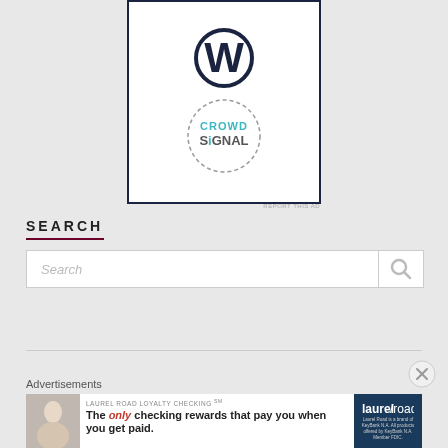[Figure (logo): Advertisement banner with WordPress W logo and CrowdSignal circular dotted logo on white background with dark navy border]
SEARCH
Search
[Figure (other): Close/dismiss X circle button]
Advertisements
[Figure (other): Laurel Road Loyalty Checking advertisement banner: 'The only checking rewards that pay you when you get paid.' with woman photo and Laurel Road logo on dark blue background]